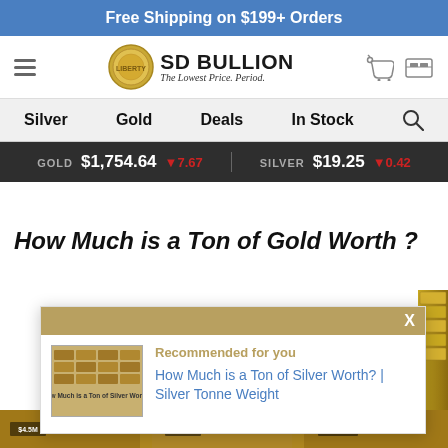Free Shipping on $199+ Orders
[Figure (logo): SD Bullion logo with coin and text 'The Lowest Price. Period.']
Silver  Gold  Deals  In Stock
GOLD $1,754.64 -7.67  SILVER $19.25 -0.42
How Much is a Ton of Gold Worth ?
[Figure (screenshot): Popup overlay with 'Recommended for you' section showing link to 'How Much is a Ton of Silver Worth? | Silver Tonne Weight' with thumbnail of silver bars]
[Figure (photo): Gold bars stacked on shelves, bottom strip showing price labels $4.5M, $4.4M, $4.41M]